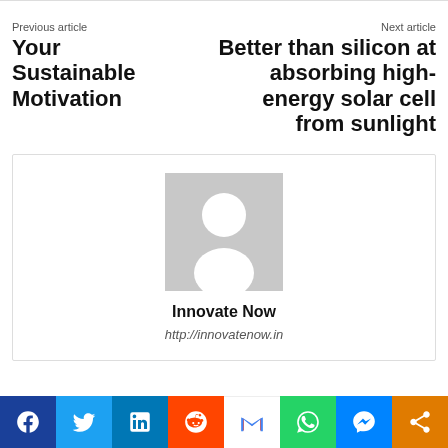Previous article
Next article
Your Sustainable Motivation
Better than silicon at absorbing high-energy solar cell from sunlight
[Figure (illustration): Author avatar placeholder box with person silhouette icon and name Innovate Now and URL http://innovatenow.in]
Innovate Now
http://innovatenow.in
[Figure (infographic): Social sharing bar with Facebook, Twitter, LinkedIn, Reddit, Gmail, WhatsApp, Messenger, and Share buttons]